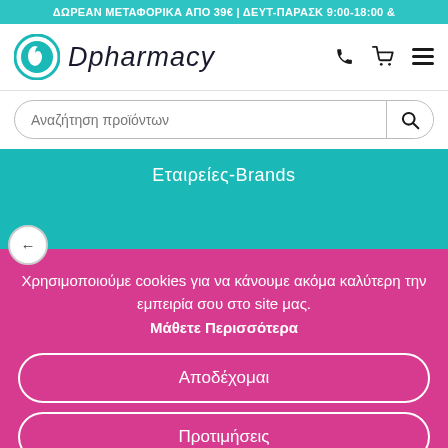ΔΩΡΕΑΝ ΜΕΤΑΦΟΡΙΚΑ ΑΠΟ 39€ | ΔΕΥΤ-ΠΑΡΑΣΚ 9:00-18:00 &
[Figure (logo): Dpharmacy logo with teal circle and pharmacy script text]
Αναζήτηση προϊόντων
Εταιρείες-Brands
Χρησιμοποιούμε cookies για να κάνουμε ακόμα καλύτερη την εμπειρία σου στο site μας.
Μάθετε Περισσότερα
Αποδέχομαι
Προτιμήσεις